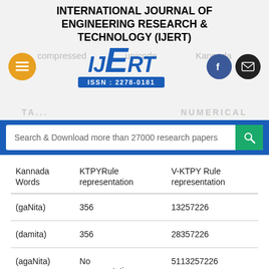INTERNATIONAL JOURNAL OF ENGINEERING RESEARCH & TECHNOLOGY (IJERT)
[Figure (logo): IJERT logo with ISSN: 2278-0181, navigation menu button (orange), Facebook icon, and email icon]
Search & Download more than 27000 research papers
| Kannada Words | KTPYRule representation | V-KTPY Rule representation |
| --- | --- | --- |
| (gaNita) | 356 | 13257226 |
| (damita) | 356 | 28357226 |
| (agaNita) | No representation | 5113257226 |